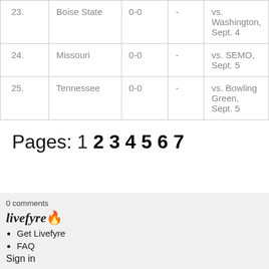| # | Team | Record | Points | Next Game |
| --- | --- | --- | --- | --- |
| 23. | Boise State | 0-0 | - | vs. Washington, Sept. 4 |
| 24. | Missouri | 0-0 | - | vs. SEMO, Sept. 5 |
| 25. | Tennessee | 0-0 | - | vs. Bowling Green, Sept. 5 |
Pages: 1 2 3 4 5 6 7
0 comments
livefyre 🔥
Get Livefyre
FAQ
Sign in